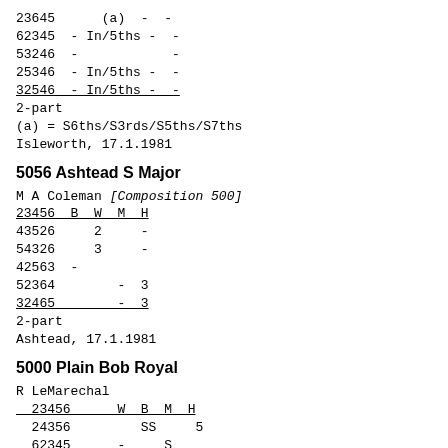23645      (a)  -  -
62345  - In/5ths -  -
53246  -            -
25346  - In/5ths -  -
32546  - In/5ths -  -
2-part
(a) = S6ths/S3rds/S5ths/S7ths
Isleworth, 17.1.1981
5056 Ashtead S Major
M A Coleman [Composition 500]
23456  B  W  M  H
43526     2     -
54326     3     -
42563  -
52364        -  3
32465        -  3
2-part
Ashtead, 17.1.1981
5000 Plain Bob Royal
R LeMarechal
  23456      W  B  M  H
  24356         SS     5
  62345      -     S
  23465      S        2